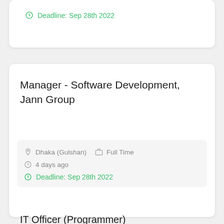Deadline: Sep 28th 2022
Manager - Software Development, Jann Group
Dhaka (Gulshan)   Full Time
4 days ago
Deadline: Sep 28th 2022
IT Officer (Programmer)